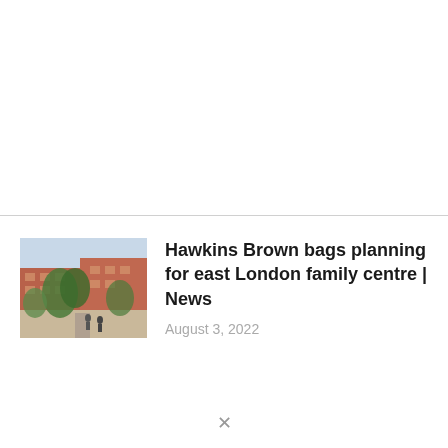[Figure (photo): Architectural rendering of a red-brick courtyard building with trees and people walking, east London family centre]
Hawkins Brown bags planning for east London family centre | News
August 3, 2022